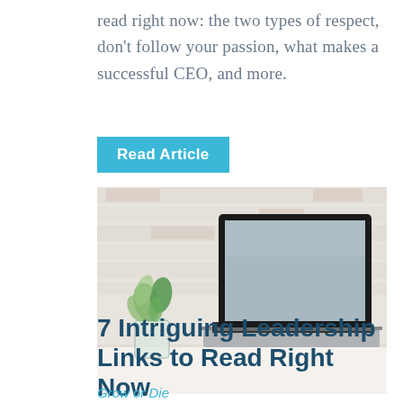read right now: the two types of respect, don't follow your passion, what makes a successful CEO, and more.
Read Article
[Figure (photo): A laptop computer with a blank grey screen sitting on a white desk against a whitewashed brick wall, with a small succulent plant in a glass jar to the left.]
7 Intriguing Leadership Links to Read Right Now
Grow or Die